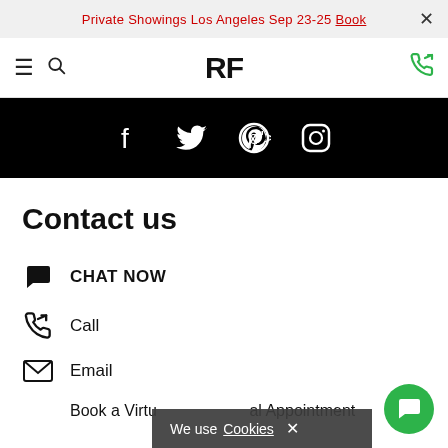Private Showings Los Angeles Sep 23-25 Book ×
[Figure (logo): RF logo with hamburger menu, search icon, and phone icon navigation bar]
[Figure (infographic): Black social media bar with Facebook, Twitter, Pinterest, and Instagram icons]
Contact us
CHAT NOW
Call
Email
Book a Virtual Appointment
We use Cookies ×